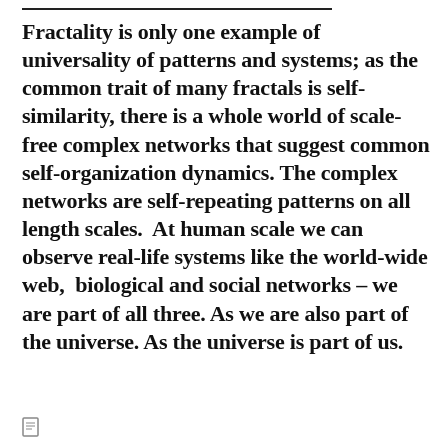Fractality is only one example of universality of patterns and systems; as the common trait of many fractals is self-similarity, there is a whole world of scale-free complex networks that suggest common self-organization dynamics. The complex networks are self-repeating patterns on all length scales.  At human scale we can observe real-life systems like the world-wide web,  biological and social networks – we are part of all three. As we are also part of the universe. As the universe is part of us.